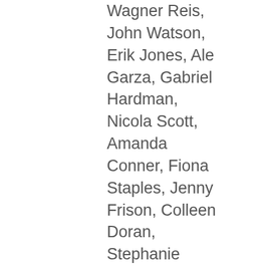Wagner Reis, John Watson, Erik Jones, Ale Garza, Gabriel Hardman, Nicola Scott, Amanda Conner, Fiona Staples, Jenny Frison, Colleen Doran, Stephanie Buscema, Mariah Benés, Nei Ruffino, Agnes Garbowska, Pia Guerra, Ming Doyle, Becky Cloonan, Jill Thompson, Amy Reeder, Stephanie Hans, Allison Sohn, Emanuela